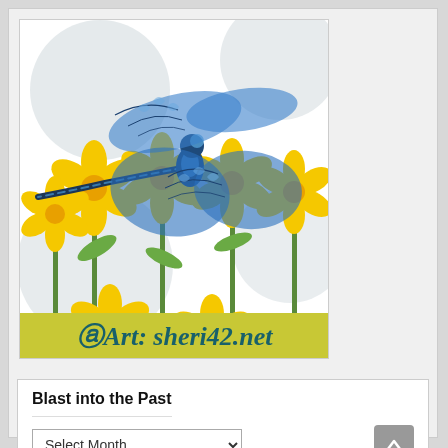[Figure (illustration): Illustration of a blue patterned dragonfly with intricate swirl designs on its wings, hovering above yellow flowers with green stems. Background has soft gray circles. At the bottom, a yellow-green banner reads 'Art: sheri42.net' in teal italic text.]
Blast into the Past
Select Month